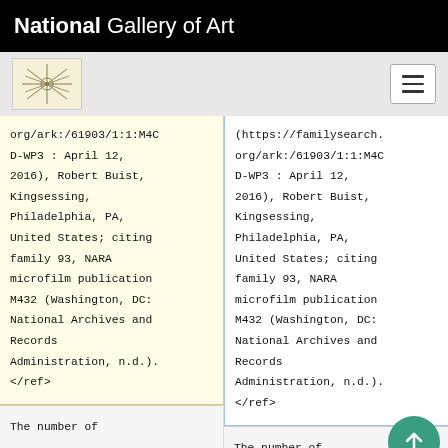National Gallery of Art
org/ark:/61903/1:1:M4CD-WP3 : April 12, 2016), Robert Buist, Kingsessing, Philadelphia, PA, United States; citing family 93, NARA microfilm publication M432 (Washington, DC: National Archives and Records Administration, n.d.). </ref>
(https://familysearch.org/ark:/61903/1:1:M4CD-WP3 : April 12, 2016), Robert Buist, Kingsessing, Philadelphia, PA, United States; citing family 93, NARA microfilm publication M432 (Washington, DC: National Archives and Records Administration, n.d.). </ref>
The number of
The number of